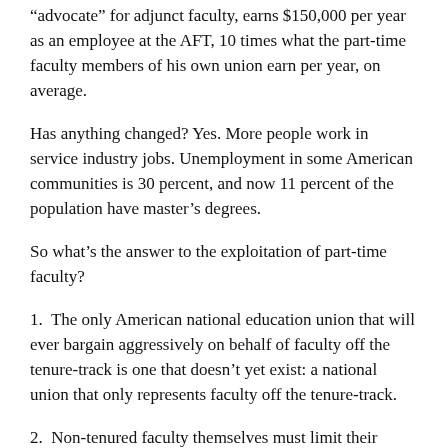“advocate” for adjunct faculty, earns $150,000 per year as an employee at the AFT, 10 times what the part-time faculty members of his own union earn per year, on average.
Has anything changed? Yes. More people work in service industry jobs. Unemployment in some American communities is 30 percent, and now 11 percent of the population have master’s degrees.
So what’s the answer to the exploitation of part-time faculty?
1.  The only American national education union that will ever bargain aggressively on behalf of faculty off the tenure-track is one that doesn’t yet exist: a national union that only represents faculty off the tenure-track.
2.  Non-tenured faculty themselves must limit their employment off the tenure-track within Academe to no more than 3 or 4 years. If no tenure-line job materializes, adjuncts must leave Academe for work elsewhere. If the majority of faculty off the tenure-track were there by choice, it would change the face of employment for those who